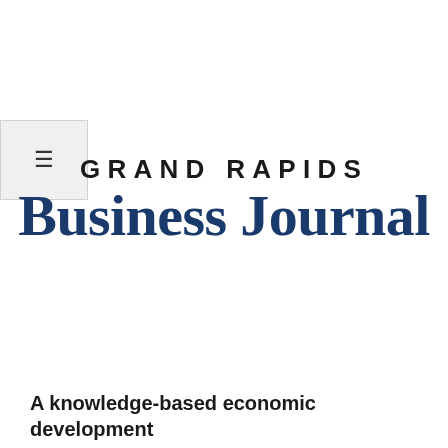[Figure (logo): Grand Rapids Business Journal logo with hamburger menu icon in top-left corner]
A knowledge-based economic development